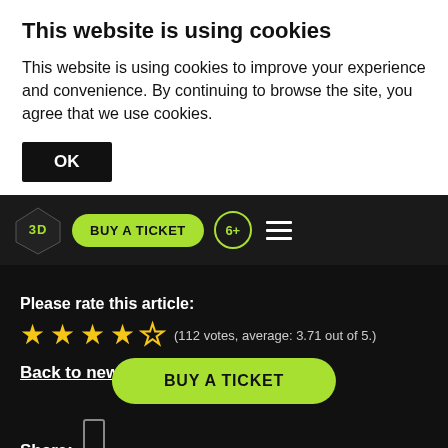This website is using cookies
This website is using cookies to improve your experience and convenience. By continuing to browse the site, you agree that we use cookies.
OK
3D Technologies, Witbox will ... ducts of Bake It Company.
[Figure (logo): 3D logo with diamond shape in dark bar, BUY A TICKET green button, 6+ age circle badge, hamburger menu icon]
Please rate this article:
★★★★☆ (112 votes, average: 3.71 out of 5.)
Back to news
Share:
BUY A TICKET